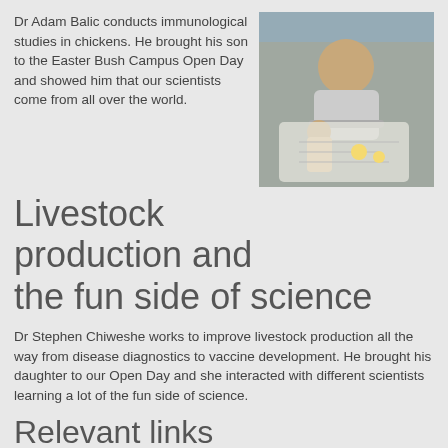Dr Adam Balic conducts immunological studies in chickens. He brought his son to the Easter Bush Campus Open Day and showed him that our scientists come from all over the world.
[Figure (photo): A man and a young girl sitting at a white table, drawing or doing an activity together. The man is leaning over to help the child.]
Livestock production and the fun side of science
Dr Stephen Chiweshe works to improve livestock production all the way from disease diagnostics to vaccine development. He brought his daughter to our Open Day and she interacted with different scientists learning a lot of the fun side of science.
Relevant links
Celebrating Ada Lovelace: Female computer scientists at Roslin
Suicide triggers in men to be studied